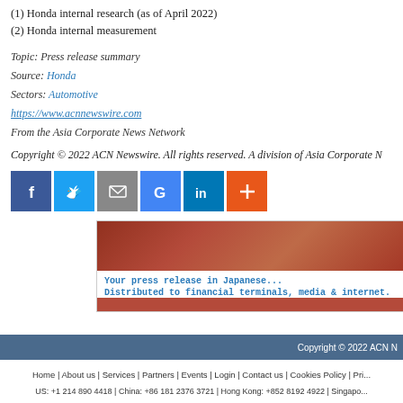(1) Honda internal research (as of April 2022)
(2) Honda internal measurement
Topic: Press release summary
Source: Honda
Sectors: Automotive
https://www.acnnewswire.com
From the Asia Corporate News Network
Copyright © 2022 ACN Newswire. All rights reserved. A division of Asia Corporate N...
[Figure (other): Social sharing icons: Facebook, Twitter, Email, Google, LinkedIn, and a plus/more button]
[Figure (other): Banner advertisement: Your press release in Japanese... Distributed to financial terminals, media & internet.]
Copyright © 2022 ACN N...
Home | About us | Services | Partners | Events | Login | Contact us | Cookies Policy | Pri...
US: +1 214 890 4418 | China: +86 181 2376 3721 | Hong Kong: +852 8192 4922 | Singapo...